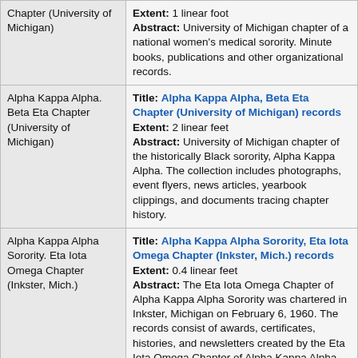| Name | Details |
| --- | --- |
| Chapter (University of Michigan) | Extent: 1 linear foot
Abstract: University of Michigan chapter of a national women's medical sorority. Minute books, publications and other organizational records. |
| Alpha Kappa Alpha. Beta Eta Chapter (University of Michigan) | Title: Alpha Kappa Alpha, Beta Eta Chapter (University of Michigan) records
Extent: 2 linear feet
Abstract: University of Michigan chapter of the historically Black sorority, Alpha Kappa Alpha. The collection includes photographs, event flyers, news articles, yearbook clippings, and documents tracing chapter history. |
| Alpha Kappa Alpha Sorority. Eta Iota Omega Chapter (Inkster, Mich.) | Title: Alpha Kappa Alpha Sorority, Eta Iota Omega Chapter (Inkster, Mich.) records
Extent: 0.4 linear feet
Abstract: The Eta Iota Omega Chapter of Alpha Kappa Alpha Sorority was chartered in Inkster, Michigan on February 6, 1960. The records consist of awards, certificates, histories, and newsletters created by the Eta Iota Omega Chapter of Alpha Kappa Alpha Sorority. |
| Alpha Nu Literary | Title: Alpha Nu Literary Society |